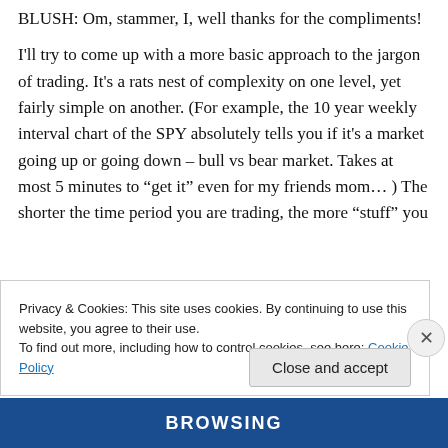BLUSH: Om, stammer, I, well thanks for the compliments!
I'll try to come up with a more basic approach to the jargon of trading. It's a rats nest of complexity on one level, yet fairly simple on another. (For example, the 10 year weekly interval chart of the SPY absolutely tells you if it's a market going up or going down – bull vs bear market. Takes at most 5 minutes to “get it” even for my friends mom… ) The shorter the time period you are trading, the more “stuff” you
Privacy & Cookies: This site uses cookies. By continuing to use this website, you agree to their use.
To find out more, including how to control cookies, see here: Cookie Policy
Close and accept